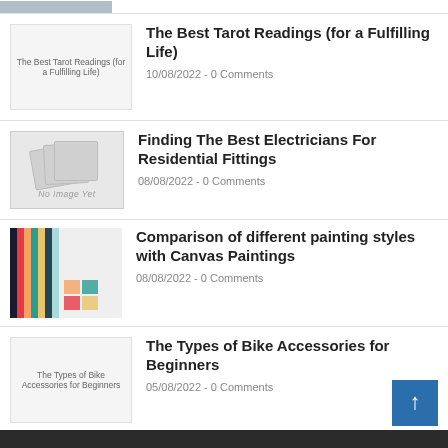The Best Tarot Readings (for a Fulfilling Life) — 10/08/2022 - 0 Comments
Finding The Best Electricians For Residential Fittings — 08/08/2022 - 0 Comments
Comparison of different painting styles with Canvas Paintings — 08/08/2022 - 0 Comments
The Types of Bike Accessories for Beginners — 05/08/2022 - 0 Comments